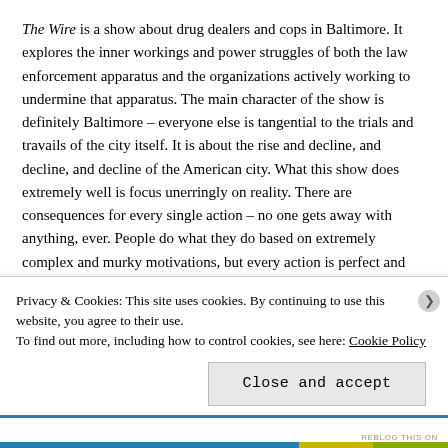The Wire is a show about drug dealers and cops in Baltimore. It explores the inner workings and power struggles of both the law enforcement apparatus and the organizations actively working to undermine that apparatus. The main character of the show is definitely Baltimore – everyone else is tangential to the trials and travails of the city itself. It is about the rise and decline, and decline, and decline of the American city. What this show does extremely well is focus unerringly on reality. There are consequences for every single action – no one gets away with anything, ever. People do what they do based on extremely complex and murky motivations, but every action is perfect and clear to understand – no character exists in a vacuum. In another
Privacy & Cookies: This site uses cookies. By continuing to use this website, you agree to their use.
To find out more, including how to control cookies, see here: Cookie Policy
Close and accept